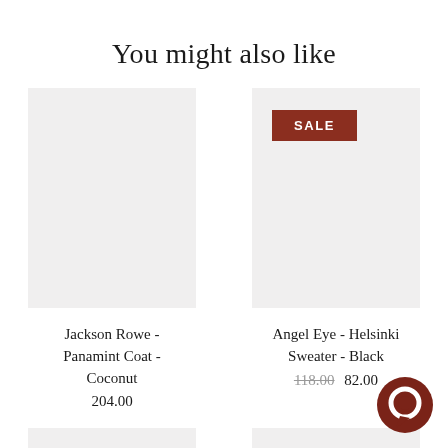You might also like
[Figure (photo): Product image placeholder for Jackson Rowe - Panamint Coat - Coconut, light gray rectangle]
Jackson Rowe - Panamint Coat - Coconut
204.00
[Figure (photo): Product image placeholder for Angel Eye - Helsinki Sweater - Black, light gray rectangle with a dark red SALE badge]
Angel Eye - Helsinki Sweater - Black
118.00  82.00
[Figure (photo): Partial product image placeholder, bottom left]
[Figure (photo): Partial product image placeholder, bottom right]
[Figure (illustration): Dark red circular chat/messenger bubble icon in bottom right corner]